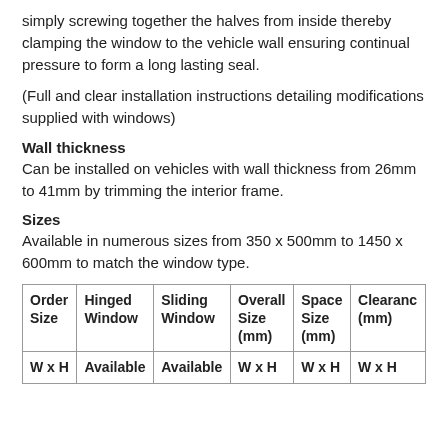simply screwing together the halves from inside thereby clamping the window to the vehicle wall ensuring continual pressure to form a long lasting seal.
(Full and clear installation instructions detailing modifications supplied with windows)
Wall thickness
Can be installed on vehicles with wall thickness from 26mm to 41mm by trimming the interior frame.
Sizes
Available in numerous sizes from 350 x 500mm to 1450 x 600mm to match the window type.
| Order Size | Hinged Window | Sliding Window | Overall Size (mm) | Space Size (mm) | Clearance (mm) |
| --- | --- | --- | --- | --- | --- |
| W x H | Available | Available | W x H | W x H | W x H |